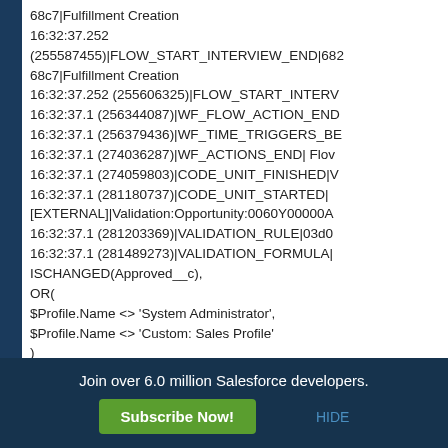68c7|Fulfillment Creation
16:32:37.252
(255587455)|FLOW_START_INTERVIEW_END|682
68c7|Fulfillment Creation
16:32:37.252 (255606325)|FLOW_START_INTERV
16:32:37.1 (256344087)|WF_FLOW_ACTION_END
16:32:37.1 (256379436)|WF_TIME_TRIGGERS_BE
16:32:37.1 (274036287)|WF_ACTIONS_END| Flov
16:32:37.1 (274059803)|CODE_UNIT_FINISHED|V
16:32:37.1 (281180737)|CODE_UNIT_STARTED|
[EXTERNAL]|Validation:Opportunity:0060Y00000A
16:32:37.1 (281203369)|VALIDATION_RULE|03d0
16:32:37.1 (281489273)|VALIDATION_FORMULA|
ISCHANGED(Approved__c),
OR(
$Profile.Name <> 'System Administrator',
$Profile.Name <> 'Custom: Sales Profile'
)
...
Join over 6.0 million Salesforce developers.
Subscribe Now!
HIDE